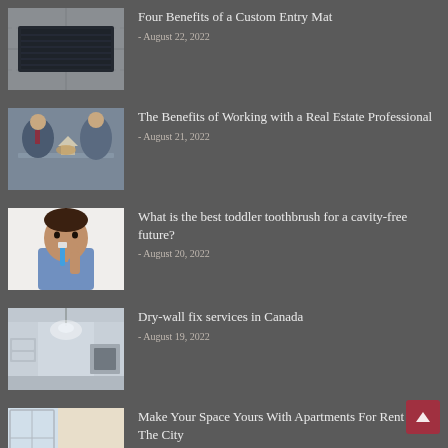[Figure (photo): Dark entry mat on tiled floor]
Four Benefits of a Custom Entry Mat
- August 22, 2022
[Figure (photo): Two people shaking hands over a table with a house model]
The Benefits of Working with a Real Estate Professional
- August 21, 2022
[Figure (photo): Young toddler brushing teeth with electric toothbrush]
What is the best toddler toothbrush for a cavity-free future?
- August 20, 2022
[Figure (photo): Interior room with white walls and light fixture]
Dry-wall fix services in Canada
- August 19, 2022
[Figure (photo): Bright apartment interior with table and chairs]
Make Your Space Yours With Apartments For Rent In The City